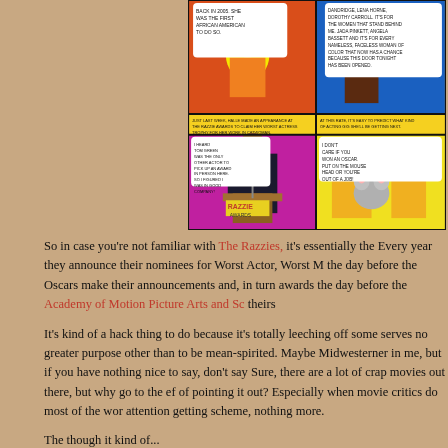[Figure (illustration): Comic strip panels showing cartoon characters discussing Halle Berry, the Razzies, and acting jobs. Bottom panels show a woman at a Razzie Awards podium and a scene with characters and a mouse/rat puppet.]
So in case you're not familiar with The Razzies, it's essentially the Every year they announce their nominees for Worst Actor, Worst M the day before the Oscars make their announcements and, in turn awards the day before the Academy of Motion Picture Arts and Sc theirs
It's kind of a hack thing to do because it's totally leeching off some serves no greater purpose other than to be mean-spirited. Maybe Midwesterner in me, but if you have nothing nice to say, don't say Sure, there are a lot of crap movies out there, but why go to the ef of pointing it out? Especially when movie critics do most of the wor attention getting scheme, nothing more.
The though it kind of...